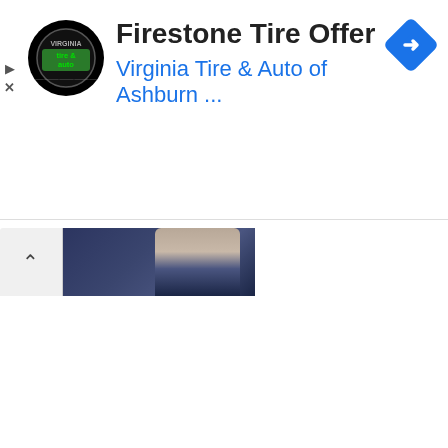[Figure (screenshot): Mobile ad banner for Firestone Tire Offer from Virginia Tire & Auto of Ashburn, with the Virginia Tire & Auto circular logo on the left, a blue navigation/directions diamond icon on the right, play and close controls on the far left, and the ad title and subtitle text in the center.]
Firestone Tire Offer
Virginia Tire & Auto of Ashburn ...
[Figure (photo): Partial thumbnail image showing a person (appears to be a woman) against a dark navy blue background, only the upper portion and right side of the image visible.]